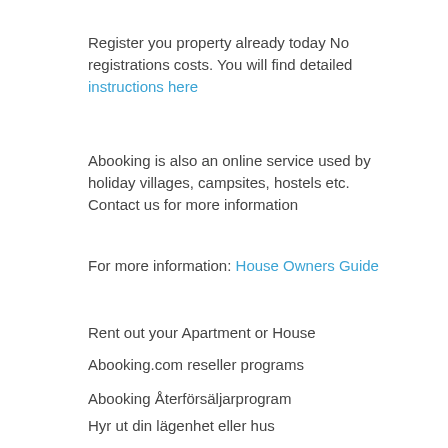Register you property already today No registrations costs. You will find detailed instructions here
Abooking is also an online service used by holiday villages, campsites, hostels etc. Contact us for more information
For more information: House Owners Guide
Rent out your Apartment or House
Abooking.com reseller programs
Abooking Återförsäljarprogram
Hyr ut din lägenhet eller hus
Travel with Abooking